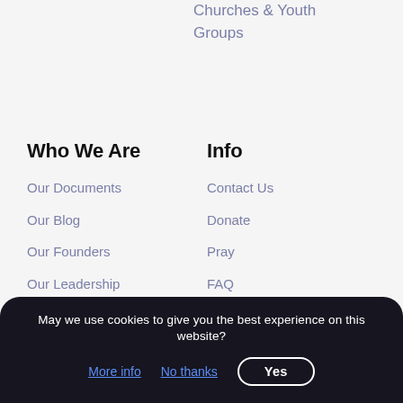Churches & Youth Groups
Who We Are
Our Documents
Our Blog
Our Founders
Our Leadership
Our Story
Our Purpose, Beliefs & Values
Know God
Info
Contact Us
Donate
Pray
FAQ
Endorsements
For Parents
For YWAMers
May we use cookies to give you the best experience on this website? More info  No thanks  Yes